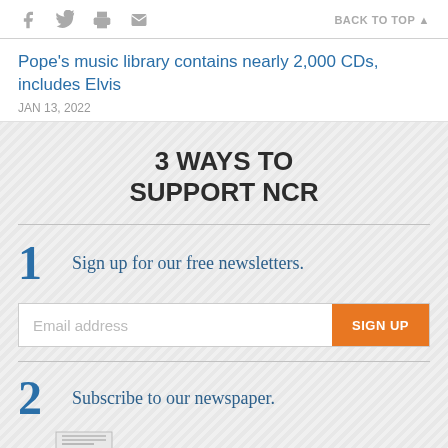f  [twitter]  [print]  [email]   BACK TO TOP ▲
Pope's music library contains nearly 2,000 CDs, includes Elvis
JAN 13, 2022
3 WAYS TO SUPPORT NCR
1  Sign up for our free newsletters.
2  Subscribe to our newspaper.